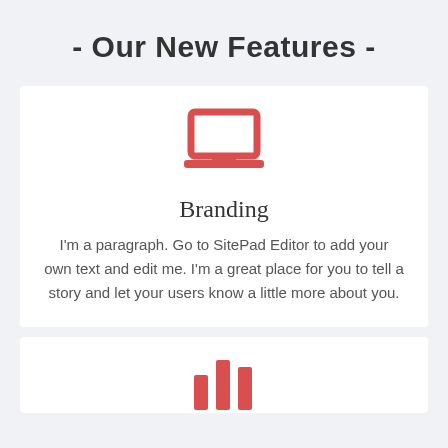- Our New Features -
[Figure (illustration): Red laptop/computer icon]
Branding
I'm a paragraph. Go to SitePad Editor to add your own text and edit me. I'm a great place for you to tell a story and let your users know a little more about you.
[Figure (illustration): Partial red icon visible at bottom of page]